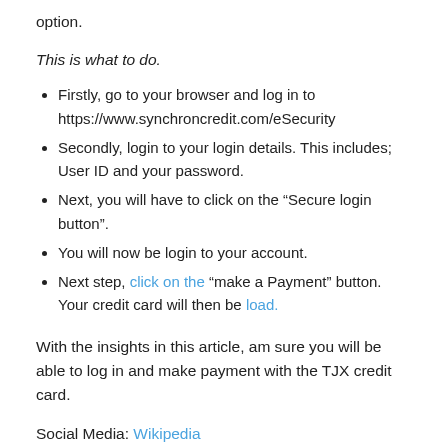option.
This is what to do.
Firstly, go to your browser and log in to https://www.synchroncredit.com/eSecurity
Secondly, login to your login details. This includes; User ID and your password.
Next, you will have to click on the “Secure login button”.
You will now be login to your account.
Next step, click on the “make a Payment” button. Your credit card will then be load.
With the insights in this article, am sure you will be able to log in and make payment with the TJX credit card.
Social Media: Wikipedia